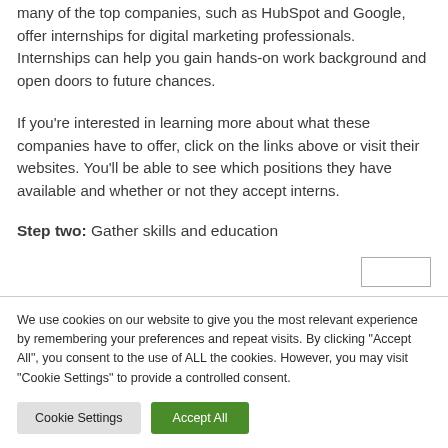many of the top companies, such as HubSpot and Google, offer internships for digital marketing professionals. Internships can help you gain hands-on work background and open doors to future chances.
If you're interested in learning more about what these companies have to offer, click on the links above or visit their websites. You'll be able to see which positions they have available and whether or not they accept interns.
Step two: Gather skills and education
We use cookies on our website to give you the most relevant experience by remembering your preferences and repeat visits. By clicking "Accept All", you consent to the use of ALL the cookies. However, you may visit "Cookie Settings" to provide a controlled consent.